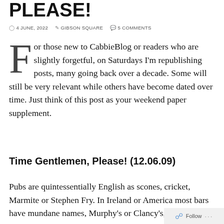PLEASE!
4 JUNE, 2022   GIBSON SQUARE   5 COMMENTS
For those new to CabbieBlog or readers who are slightly forgetful, on Saturdays I'm republishing posts, many going back over a decade. Some will still be very relevant while others have become dated over time. Just think of this post as your weekend paper supplement.
Time Gentlemen, Please! (12.06.09)
Pubs are quintessentially English as scones, cricket, Marmite or Stephen Fry. In Ireland or America most bars have mundane names, Murphy's or Clancy's, while